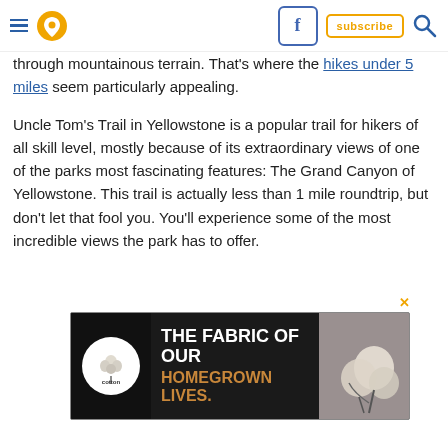Navigation bar with hamburger menu, pin/location icon, Facebook icon, subscribe button, search icon
through mountainous terrain. That's where the hikes under 5 miles seem particularly appealing.
Uncle Tom's Trail in Yellowstone is a popular trail for hikers of all skill level, mostly because of its extraordinary views of one of the parks most fascinating features: The Grand Canyon of Yellowstone. This trail is actually less than 1 mile roundtrip, but don't let that fool you. You'll experience some of the most incredible views the park has to offer.
[Figure (other): Cotton advertising banner: 'THE FABRIC OF OUR HOMEGROWN LIVES.' with cotton logo and cotton plant image]